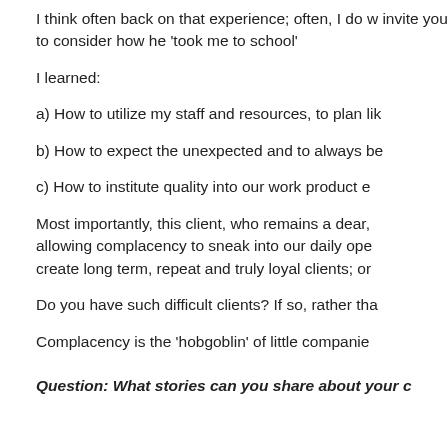I think often back on that experience; often, I do w invite you to consider how he 'took me to school'
I learned:
a) How to utilize my staff and resources, to plan lik
b) How to expect the unexpected and to always be
c) How to institute quality into our work product e
Most importantly, this client, who remains a dear, allowing complacency to sneak into our daily ope create long term, repeat and truly loyal clients; or
Do you have such difficult clients? If so, rather tha
Complacency is the 'hobgoblin' of little companie
Question: What stories can you share about your c